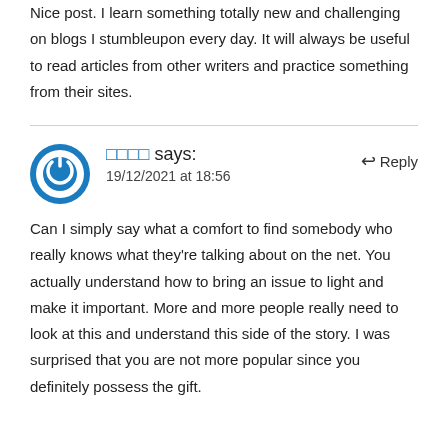Nice post. I learn something totally new and challenging on blogs I stumbleupon every day. It will always be useful to read articles from other writers and practice something from their sites.
□□□□ says:
19/12/2021 at 18:56
Can I simply say what a comfort to find somebody who really knows what they're talking about on the net. You actually understand how to bring an issue to light and make it important. More and more people really need to look at this and understand this side of the story. I was surprised that you are not more popular since you definitely possess the gift.